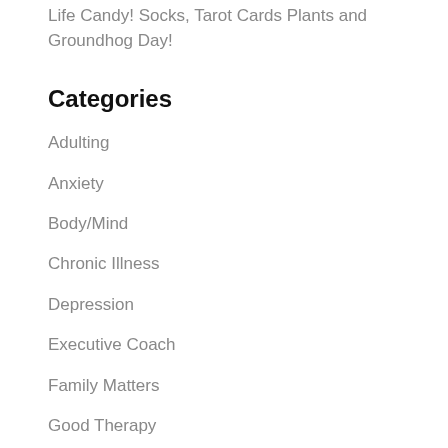Life Candy! Socks, Tarot Cards Plants and Groundhog Day!
Categories
Adulting
Anxiety
Body/Mind
Chronic Illness
Depression
Executive Coach
Family Matters
Good Therapy
Grief
Happiness